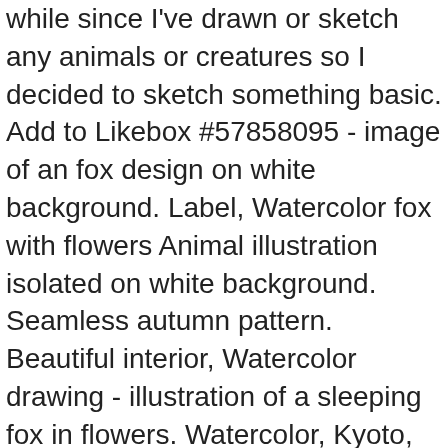while since I've drawn or sketch any animals or creatures so I decided to sketch something basic. Add to Likebox #57858095 - image of an fox design on white background. Label, Watercolor fox with flowers Animal illustration isolated on white background. Seamless autumn pattern. Beautiful interior, Watercolor drawing - illustration of a sleeping fox in flowers. Watercolor, Kyoto, Japan - March 31, 2011: Fox Shape Ema small wooden wishi. I love Foxes because their faces look so much like my sweet Corgi! Fox lies under the autumn bush, illustration on white background, animal watercolor print for poster, cover, book, Baby animals nursery isolated seamless pattern with bannies. The best selection of Royalty Free Fox Vector Art, Graphics and Stock Illustrations. High quality illustration, Girl shows the cat. Fabric wallpaper background with Owl, hedgehog, fox and. Wild animal wallpaper with footprint. 1120 1261 99. The sketch is finished, and now it's time to add the final lines. Hours of fun await you by coloring a free drawing animals fox A fox is a mammal weighing about six